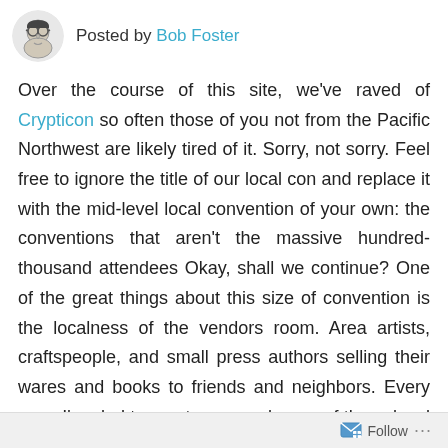Posted by Bob Foster
Over the course of this site, we've raved of Crypticon so often those of you not from the Pacific Northwest are likely tired of it. Sorry, not sorry. Feel free to ignore the title of our local con and replace it with the mid-level local convention of your own: the conventions that aren't the massive hundred-thousand attendees Okay, shall we continue? One of the great things about this size of convention is the localness of the vendors room. Area artists, craftspeople, and small press authors selling their wares and books to friends and neighbors. Every year, I'm glad to meet more and more of these local awesome people and buy their books and other works. This year (2019), I was glad to meet (for the
Follow ...